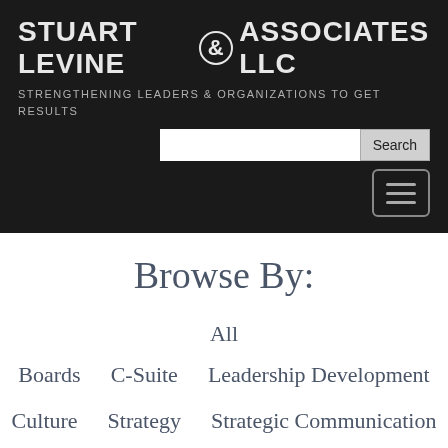STUART LEVINE & ASSOCIATES LLC
STRENGTHENING LEADERS & ORGANIZATIONS TO GET RESULTS
Browse By:
All
Boards
C-Suite
Leadership Development
Culture
Strategy
Strategic Communication